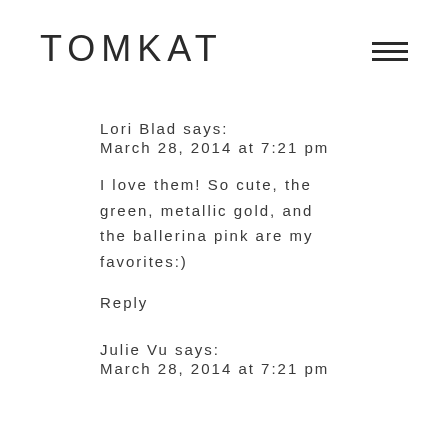TOMKAT
Lori Blad says:
March 28, 2014 at 7:21 pm
I love them! So cute, the green, metallic gold, and the ballerina pink are my favorites:)
Reply
Julie Vu says:
March 28, 2014 at 7:21 pm